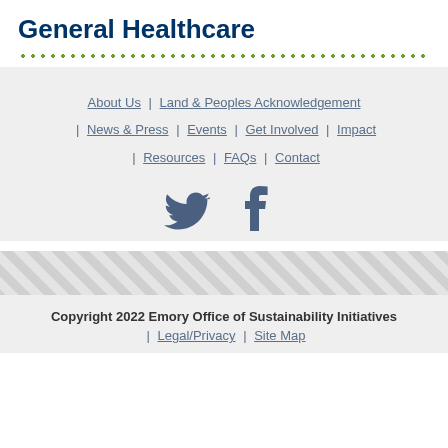General Healthcare
About Us | Land & Peoples Acknowledgement | News & Press | Events | Get Involved | Impact | Resources | FAQs | Contact
[Figure (illustration): Twitter bird icon and Facebook f icon in slate blue color]
[Figure (illustration): Diagonal hatch pattern decorative bar in light gray]
Copyright 2022 Emory Office of Sustainability Initiatives | Legal/Privacy | Site Map